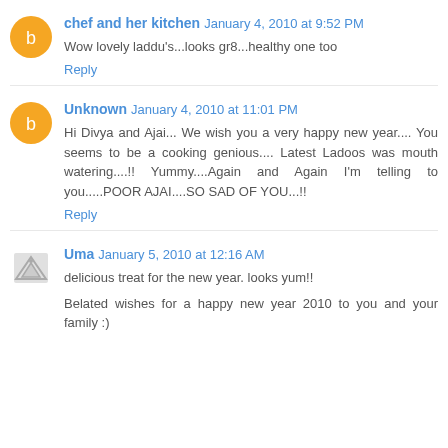chef and her kitchen January 4, 2010 at 9:52 PM
Wow lovely laddu's...looks gr8...healthy one too
Reply
Unknown January 4, 2010 at 11:01 PM
Hi Divya and Ajai... We wish you a very happy new year.... You seems to be a cooking genious.... Latest Ladoos was mouth watering....!! Yummy....Again and Again I'm telling to you.....POOR AJAI....SO SAD OF YOU...!!
Reply
Uma January 5, 2010 at 12:16 AM
delicious treat for the new year. looks yum!!
Belated wishes for a happy new year 2010 to you and your family :)